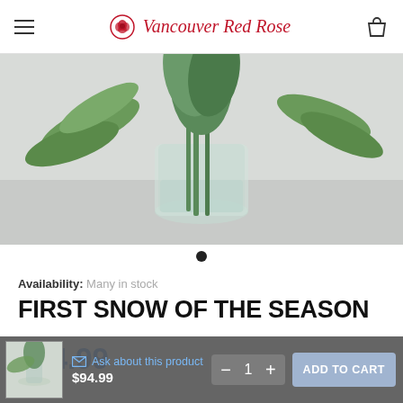Vancouver Red Rose
[Figure (photo): Close-up of green stems and leaves in a clear glass vase with water, on a light gray background — flower arrangement product photo]
Availability: Many in stock
FIRST SNOW OF THE SEASON
$94.99
Ask about this product $94.99  −  1  +  ADD TO CART